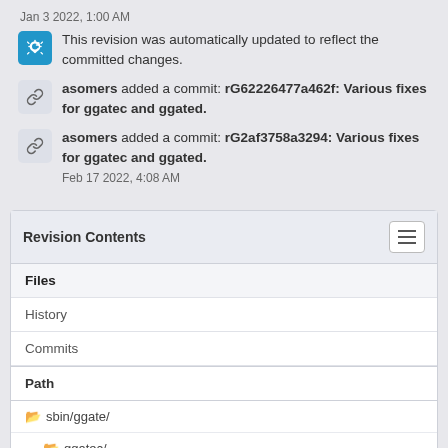Jan 3 2022, 1:00 AM
This revision was automatically updated to reflect the committed changes.
asomers added a commit: rG62226477a462f: Various fixes for ggatec and ggated.
asomers added a commit: rG2af3758a3294: Various fixes for ggatec and ggated. Feb 17 2022, 4:08 AM
Revision Contents
Files
History
Commits
Path
sbin/ggate/
ggatec/